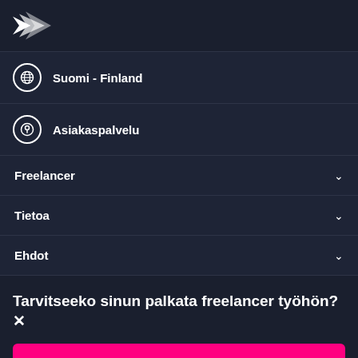[Figure (logo): Freelancer.com bird/arrow logo in white on dark navy background]
Suomi - Finland
Asiakaspalvelu
Freelancer
Tietoa
Ehdot
Tarvitseeko sinun palkata freelancer työhön?
Ilmoita projekti